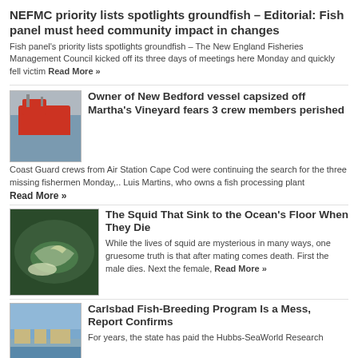NEFMC priority lists spotlights groundfish – Editorial: Fish panel must heed community impact in changes
Fish panel's priority lists spotlights groundfish – The New England Fisheries Management Council kicked off its three days of meetings here Monday and quickly fell victim Read More »
Owner of New Bedford vessel capsized off Martha's Vineyard fears 3 crew members perished
[Figure (photo): Red fishing vessel docked at a harbor]
Coast Guard crews from Air Station Cape Cod were continuing the search for the three missing fishermen Monday,.. Luis Martins, who owns a fish processing plant Read More »
The Squid That Sink to the Ocean's Floor When They Die
[Figure (photo): Squid lying on the ocean floor near a starfish]
While the lives of squid are mysterious in many ways, one gruesome truth is that after mating comes death. First the male dies. Next the female, Read More »
Carlsbad Fish-Breeding Program Is a Mess, Report Confirms
[Figure (photo): Coastal landscape with water and buildings]
For years, the state has paid the Hubbs-SeaWorld Research